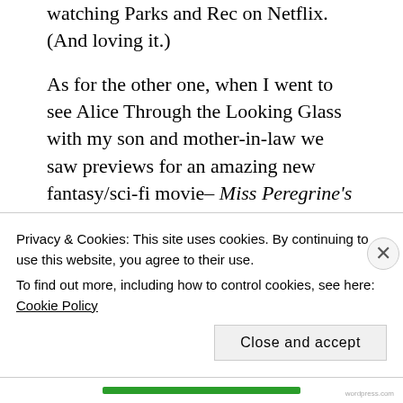watching Parks and Rec on Netflix. (And loving it.)
As for the other one, when I went to see Alice Through the Looking Glass with my son and mother-in-law we saw previews for an amazing new fantasy/sci-fi movie– Miss Peregrine's Home for Peculiar Children. Let me tell you, we are pumped about seeing that movie!
I for one was totally shocked because I remembered seeing that book everywhere last year, but the whole time I thought it was a horror novel! I mean, look at that cover! Creepy. Very creepy. And I CANNOT read
Privacy & Cookies: This site uses cookies. By continuing to use this website, you agree to their use.
To find out more, including how to control cookies, see here: Cookie Policy
Close and accept